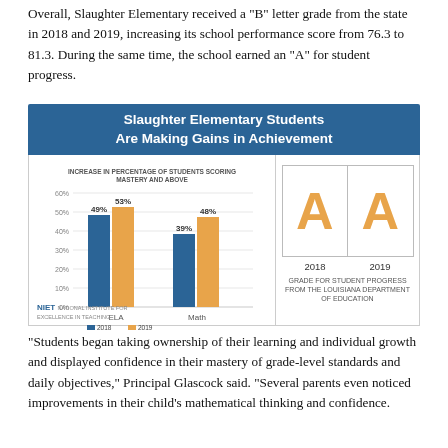Overall, Slaughter Elementary received a "B" letter grade from the state in 2018 and 2019, increasing its school performance score from 76.3 to 81.3. During the same time, the school earned an "A" for student progress.
[Figure (grouped-bar-chart): Grouped bar chart showing ELA and Math gains with 2018 and 2019 comparisons, plus an A grade for student progress from Louisiana Department of Education in 2018 and 2019]
"Students began taking ownership of their learning and individual growth and displayed confidence in their mastery of grade-level standards and daily objectives," Principal Glascock said. "Several parents even noticed improvements in their child's mathematical thinking and confidence.